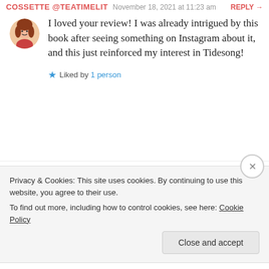COSSETTE @TEATIMELIT  November 18, 2021 at 11:23 am  REPLY →
I loved your review! I was already intrigued by this book after seeing something on Instagram about it, and this just reinforced my interest in Tidesong!
Liked by 1 person
ODDANDBOOKISH  November 20, 2021 at 9:48 pm  REPLY →
Thank you! I hope you enjoy it!
Privacy & Cookies: This site uses cookies. By continuing to use this website, you agree to their use.
To find out more, including how to control cookies, see here: Cookie Policy
Close and accept